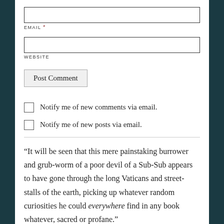EMAIL *
WEBSITE
Post Comment
Notify me of new comments via email.
Notify me of new posts via email.
“It will be seen that this mere painstaking burrower and grub-worm of a poor devil of a Sub-Sub appears to have gone through the long Vaticans and street-stalls of the earth, picking up whatever random curiosities he could everywhere find in any book whatever, sacred or profane.”